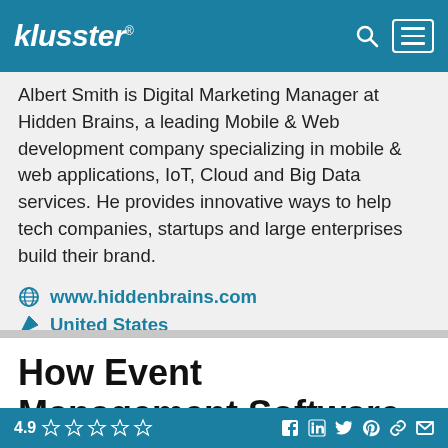klusster®
Albert Smith is Digital Marketing Manager at Hidden Brains, a leading Mobile & Web development company specializing in mobile & web applications, IoT, Cloud and Big Data services. He provides innovative ways to help tech companies, startups and large enterprises build their brand.
www.hiddenbrains.com
United States
How Event Management Software helps businesses
4.9 ☆☆☆☆☆